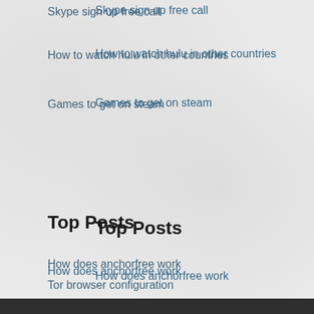Skype sign up free call
How to watch hulu in other countries
Games to get on steam
Top Posts
How does anchorfree work
Tor browser configuration
Ass like that hd
Malwarebytes mobile review
Change google settings on android